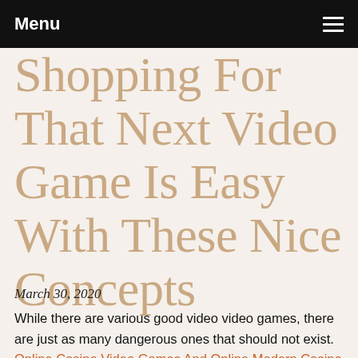Menu
Shopping For That Next Video Game Is Easy With These Nice Concepts
March 30, 2020
While there are various good video video games, there are just as many dangerous ones that should not exist. Online Casino Video Games And Online Modern Casino Tips can leave anybody with a severe case of patrons remorse. There are